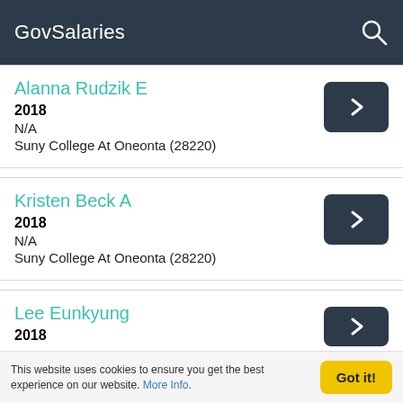GovSalaries
Alanna Rudzik E
2018
N/A
Suny College At Oneonta (28220)
Kristen Beck A
2018
N/A
Suny College At Oneonta (28220)
Lee Eunkyung
2018
This website uses cookies to ensure you get the best experience on our website. More Info.